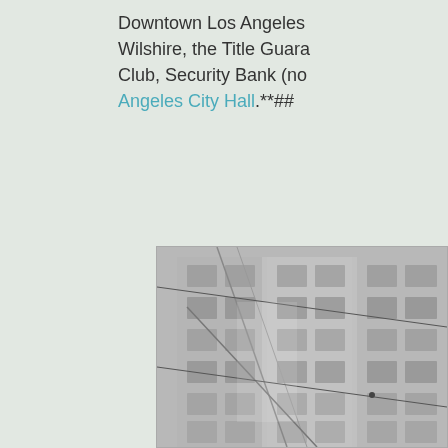Downtown Los Angeles Wilshire, the Title Guarantee Club, Security Bank (no Angeles City Hall.**##
[Figure (photo): Black and white photograph of a multi-story urban building facade with grid-like windows, fire escapes, and overhead wires in the foreground.]